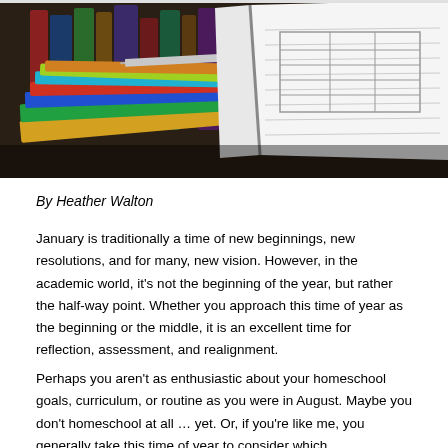[Figure (photo): Photo of a pile of colorful books and an open workbook/worksheet on a wooden surface]
By Heather Walton
January is traditionally a time of new beginnings, new resolutions, and for many, new vision. However, in the academic world, it's not the beginning of the year, but rather the half-way point. Whether you approach this time of year as the beginning or the middle, it is an excellent time for reflection, assessment, and realignment.
Perhaps you aren't as enthusiastic about your homeschool goals, curriculum, or routine as you were in August. Maybe you don't homeschool at all … yet. Or, if you're like me, you generally take this time of year to consider which